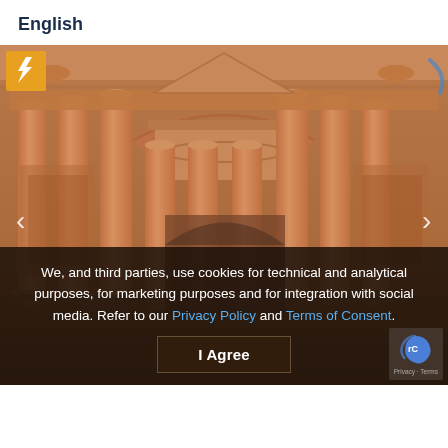English
[Figure (photo): Close-up photograph of the Treasury (Al-Khazneh) at Petra, Jordan, showing ornate Hellenistic architecture carved from rose-red sandstone, with columns, carvings, and a rotunda]
We, and third parties, use cookies for technical and analytical purposes, for marketing purposes and for integration with social media. Refer to our Privacy Policy and Terms of Consent.
I Agree